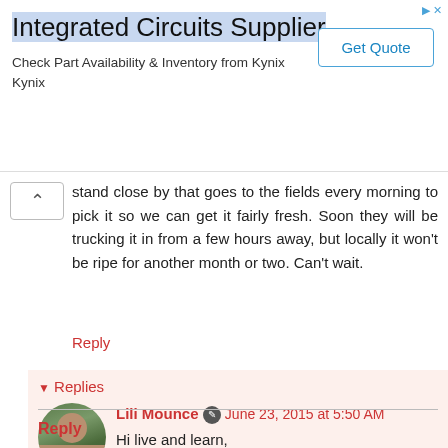[Figure (screenshot): Advertisement banner for Integrated Circuits Supplier from Kynix with a Get Quote button]
stand close by that goes to the fields every morning to pick it so we can get it fairly fresh. Soon they will be trucking it in from a few hours away, but locally it won't be ripe for another month or two. Can't wait.
Reply
▾ Replies
Lili Mounce ✎ June 23, 2015 at 5:50 AM
Hi live and learn,
Although that sounded like a LOT of work that you and your family went to for super fresh corn, I'm sure it was very delicious!
Reply